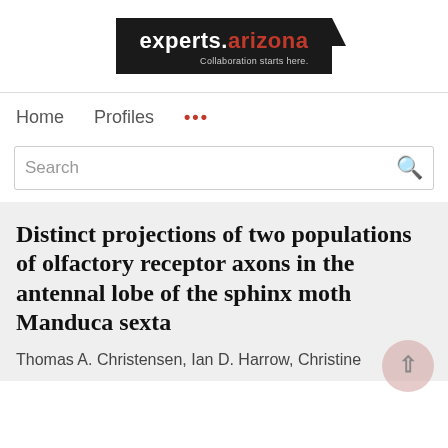[Figure (logo): experts.arizona logo with tagline 'Collaboration starts here.' on black background]
Home   Profiles   ...
Search
Distinct projections of two populations of olfactory receptor axons in the antennal lobe of the sphinx moth Manduca sexta
Thomas A. Christensen, Ian D. Harrow, Christine